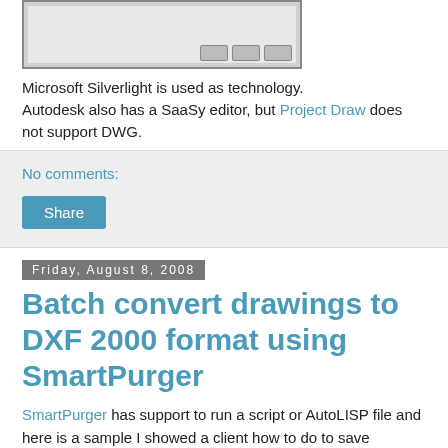[Figure (screenshot): Partial screenshot of a dialog or editor window with grey background and three small buttons in the bottom right]
Microsoft Silverlight is used as technology. Autodesk also has a SaaSy editor, but Project Draw does not support DWG.
No comments:
Share
Friday, August 8, 2008
Batch convert drawings to DXF 2000 format using SmartPurger
SmartPurger has support to run a script or AutoLISP file and here is a sample I showed a client how to do to save drawings to AutoCAD 2000 DXF file format. It can easily be change to save to other DXF versions like AutoCAD 2007 DXF, AutoCAD 2004 DXF or AutoCAD R12 DXF.